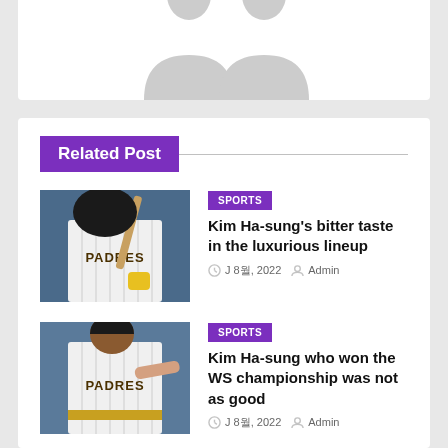[Figure (illustration): Two gray placeholder person silhouette icons on white background, top portion cut off]
Related Post
[Figure (photo): Baseball player in San Diego Padres uniform holding a bat, white pinstripe jersey with PADRES text]
SPORTS
Kim Ha-sung's bitter taste in the luxurious lineup
J 8월, 2022  Admin
[Figure (photo): Baseball player in San Diego Padres uniform pointing, white jersey with PADRES text, gold belt]
SPORTS
Kim Ha-sung who won the WS championship was not as good
J 8월, 2022  Admin